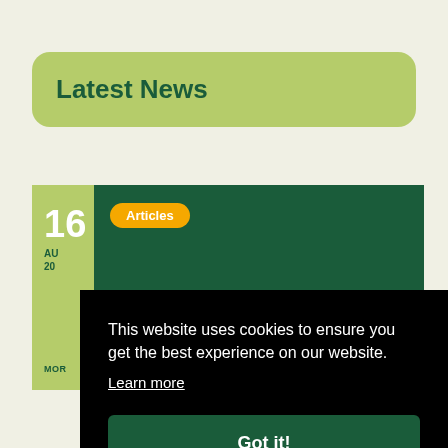Latest News
Articles
16
AU
20
MOR
This website uses cookies to ensure you get the best experience on our website.
Learn more
Got it!